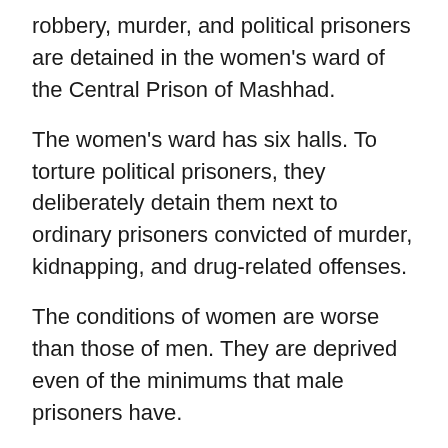robbery, murder, and political prisoners are detained in the women's ward of the Central Prison of Mashhad.
The women's ward has six halls. To torture political prisoners, they deliberately detain them next to ordinary prisoners convicted of murder, kidnapping, and drug-related offenses.
The conditions of women are worse than those of men. They are deprived even of the minimums that male prisoners have.
The punishment ward
The general ward of this prison, which is used as a punishment ward, has no beds and is very unsanitary. This section has only two small windows that are always entirely closed. The door of this ward is entirely closed, and when prisoners have a request, they knock on the door,